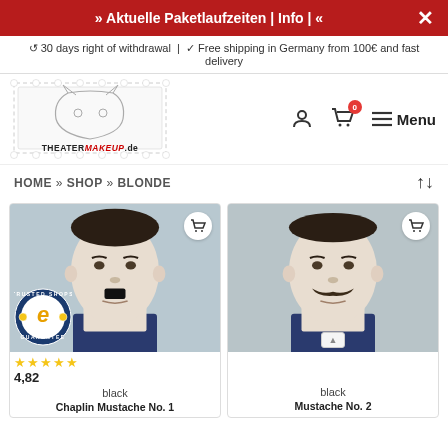» Aktuelle Paketlaufzeiten | Info | «
↺ 30 days right of withdrawal | ✓ Free shipping in Germany from 100€ and fast delivery
[Figure (logo): TheatermakeUp.de logo with stamp/postage style border]
HOME » SHOP » BLONDE
[Figure (photo): Man wearing black chaplin-style mustache, front-facing portrait]
black
Chaplin Mustache No. 1
[Figure (photo): Man wearing brown/dark mustache, front-facing portrait]
black
Mustache No. 2